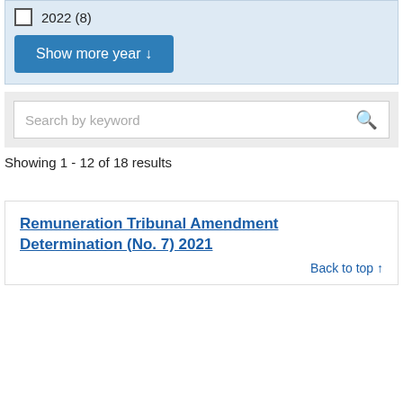2022 (8)
Show more year ↓
Search by keyword
Showing 1 - 12 of 18 results
Remuneration Tribunal Amendment Determination (No. 7) 2021
Back to top ↑